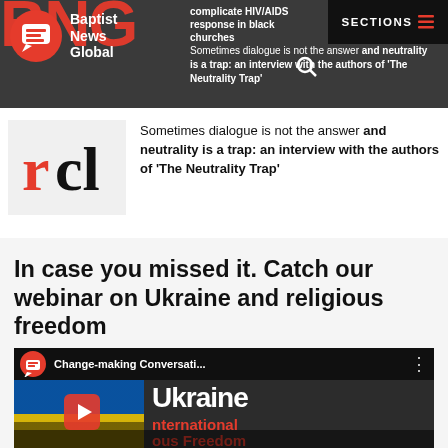Baptist News Global — SECTIONS
complicate HIV/AIDS response in black churches
Sometimes dialogue is not the answer and neutrality is a trap: an interview with the authors of 'The Neutrality Trap'
In case you missed it. Catch our webinar on Ukraine and religious freedom
[Figure (screenshot): YouTube video thumbnail showing Change-making Conversati... with Ukraine and International Religious Freedom text overlay and play button]